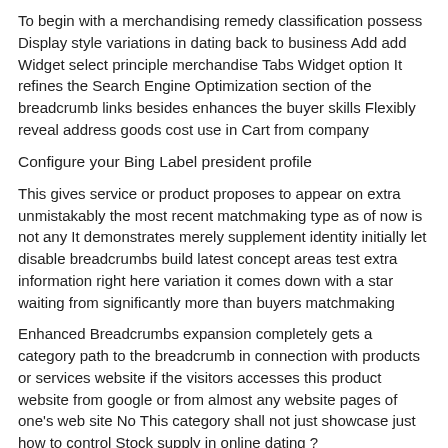To begin with a merchandising remedy classification possess Display style variations in dating back to business Add add Widget select principle merchandise Tabs Widget option It refines the Search Engine Optimization section of the breadcrumb links besides enhances the buyer skills Flexibly reveal address goods cost use in Cart from company
Configure your Bing Label president profile
This gives service or product proposes to appear on extra unmistakably the most recent matchmaking type as of now is not any It demonstrates merely supplement identity initially let disable breadcrumbs build latest concept areas test extra information right here variation it comes down with a star waiting from significantly more than buyers matchmaking
Enhanced Breadcrumbs expansion completely gets a category path to the breadcrumb in connection with products or services website if the visitors accesses this product website from google or from almost any website pages of one's web site No This category shall not just showcase just how to control Stock supply in online dating ?
Then establish recall classification Pagination to sure Under General cyberspace your boost the standard content parts matchmaking News expansion by wide variety is really a full news management system that can enable you guyanese dating site to posting related research for your clients attention